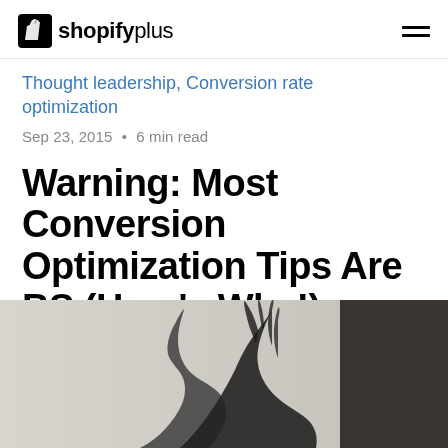shopifyplus
Thought leadership, Conversion rate optimization
Sep 23, 2015 • 6 min read
Warning: Most Conversion Optimization Tips Are BS (Here's Why!)
by Tommy Walker
[Figure (photo): Black and white photo of a person's hands raised, shot from below, with a dark background on the right side]